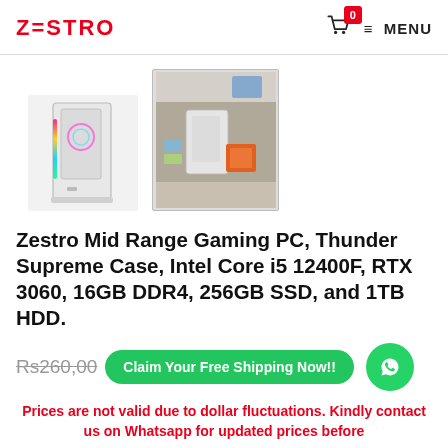ZESTRO | 0 | MENU
[Figure (photo): Two product thumbnail images of a white mid-tower gaming PC case with RGB lighting, shown from different angles]
Zestro Mid Range Gaming PC, Thunder Supreme Case, Intel Core i5 12400F, RTX 3060, 16GB DDR4, 256GB SSD, and 1TB HDD.
Rs260,00 [price partially obscured by CTA button] Claim Your Free Shipping Now!!
Prices are not valid due to dollar fluctuations. Kindly contact us on Whatsapp for updated prices before